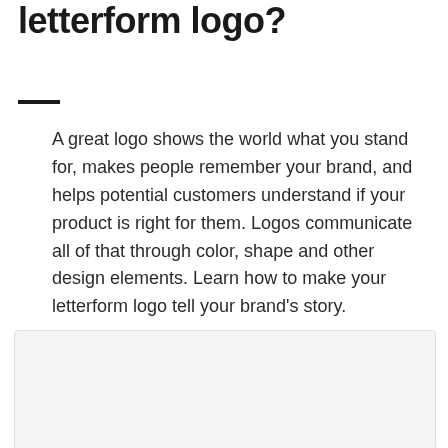What makes a good letterform logo?
A great logo shows the world what you stand for, makes people remember your brand, and helps potential customers understand if your product is right for them. Logos communicate all of that through color, shape and other design elements. Learn how to make your letterform logo tell your brand's story.
[Figure (other): A light gray rectangular image placeholder area at the bottom of the page]